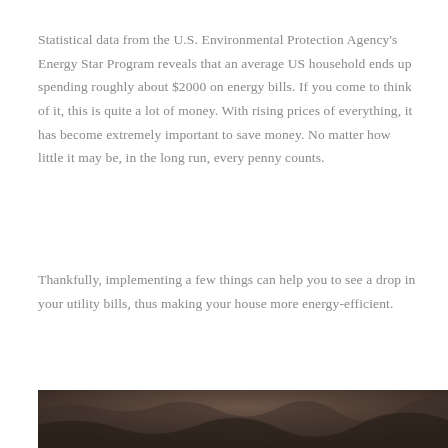Statistical data from the U.S. Environmental Protection Agency's Energy Star Program reveals that an average US household ends up spending roughly about $2000 on energy bills. If you come to think of it, this is quite a lot of money. With rising prices of everything, it has become extremely important to save money. No matter how little it may be, in the long run, every penny counts.
Thankfully, implementing a few things can help you to see a drop in your utility bills, thus making your house more energy-efficient.
[Figure (photo): Partial photo visible at bottom of page, appears to show a person's hair/head from above, dark tones]